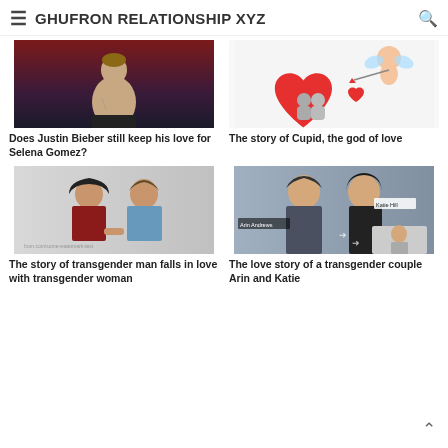GHUFRON RELATIONSHIP XYZ
[Figure (photo): Shirtless man against red background - Justin Bieber article image]
Does Justin Bieber still keep his love for Selena Gomez?
[Figure (illustration): Cupid illustration with red heart and couple - Cupid article image]
The story of Cupid, the god of love
[Figure (photo): Couple holding hands outdoors - transgender man and woman article image]
The story of transgender man falls in love with transgender woman
[Figure (photo): Arin Andrews and Katie Hill smiling together - transgender couple article image]
The love story of a transgender couple Arin and Katie